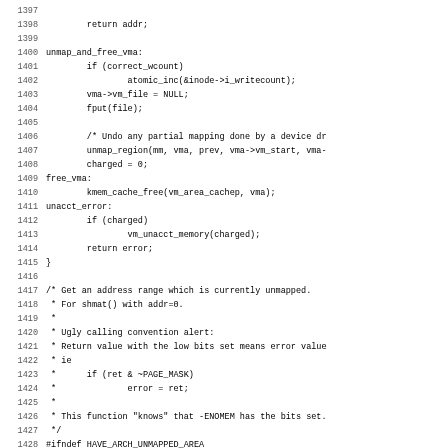Source code listing lines 1397-1428, showing C kernel code including unmap_and_free_vma, free_vma, unacct_error labels and comment block about unmapped address range and HAVE_ARCH_UNMAPPED_AREA.